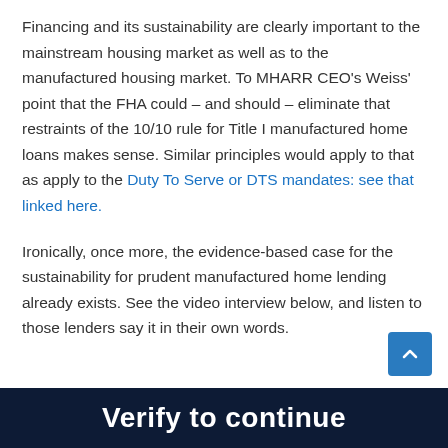Financing and its sustainability are clearly important to the mainstream housing market as well as to the manufactured housing market. To MHARR CEO's Weiss' point that the FHA could – and should – eliminate that restraints of the 10/10 rule for Title I manufactured home loans makes sense. Similar principles would apply to that as apply to the Duty To Serve or DTS mandates: see that linked here.
Ironically, once more, the evidence-based case for the sustainability for prudent manufactured home lending already exists. See the video interview below, and listen to those lenders say it in their own words.
Verify to continue